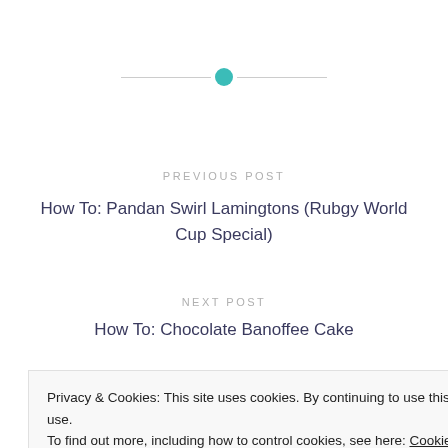[Figure (other): Horizontal divider with teal circle dot in the center and thin grey lines on each side]
PREVIOUS POST
How To: Pandan Swirl Lamingtons (Rubgy World Cup Special)
NEXT POST
How To: Chocolate Banoffee Cake
Privacy & Cookies: This site uses cookies. By continuing to use this website, you agree to their use.
To find out more, including how to control cookies, see here: Cookie Policy
Close and accept